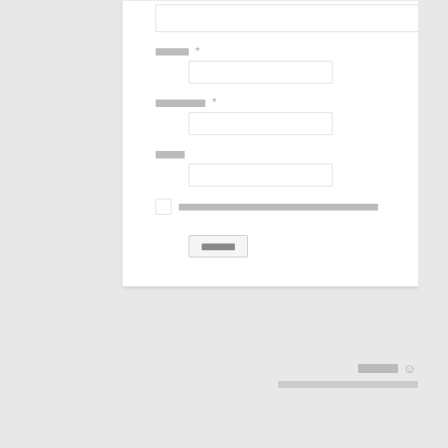[Figure (screenshot): A web form (partially visible) on a light gray background. The form shows a textarea at the top (partially cropped), then three labeled input fields (with placeholder blocks for text), a checkbox row with a long placeholder text, a submit button, and a footer with a logo/smiley and link text.]
□□□□ *
□□□□□□□ *
□□□□
□□□□□□□□□□□□□□□□□□□□□□□□□□□□□□□□□□□□□□
□□□□
□□□□ ☺
□□□□□□□□□□□□□□□□□□□□□□□□□□□□□□□□□□